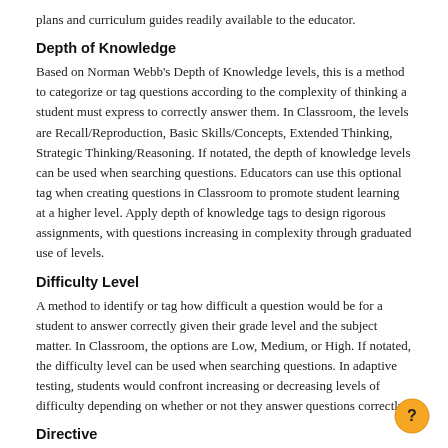plans and curriculum guides readily available to the educator.
Depth of Knowledge
Based on Norman Webb's Depth of Knowledge levels, this is a method to categorize or tag questions according to the complexity of thinking a student must express to correctly answer them. In Classroom, the levels are Recall/Reproduction, Basic Skills/Concepts, Extended Thinking, Strategic Thinking/Reasoning. If notated, the depth of knowledge levels can be used when searching questions. Educators can use this optional tag when creating questions in Classroom to promote student learning at a higher level. Apply depth of knowledge tags to design rigorous assignments, with questions increasing in complexity through graduated use of levels.
Difficulty Level
A method to identify or tag how difficult a question would be for a student to answer correctly given their grade level and the subject matter. In Classroom, the options are Low, Medium, or High. If notated, the difficulty level can be used when searching questions. In adaptive testing, students would confront increasing or decreasing levels of difficulty depending on whether or not they answer questions correctly.
Directive
A type of assignment in which the student is instructed to act on given a task